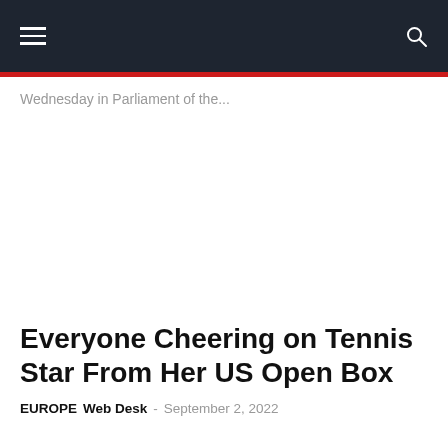Navigation bar with hamburger menu and search icon
Wednesday in Parliament of the...
Everyone Cheering on Tennis Star From Her US Open Box
EUROPE  Web Desk - September 2, 2022